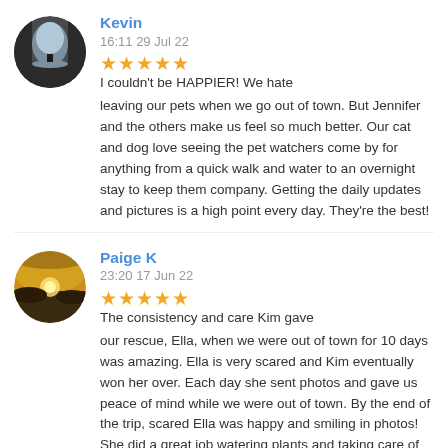Kevin
16:11 29 Jul 22
I couldn't be HAPPIER! We hate leaving our pets when we go out of town. But Jennifer and the others make us feel so much better. Our cat and dog love seeing the pet watchers come by for anything from a quick walk and water to an overnight stay to keep them company. Getting the daily updates and pictures is a high point every day. They're the best!
Paige K
23:20 17 Jun 22
The consistency and care Kim gave our rescue, Ella, when we were out of town for 10 days was amazing. Ella is very scared and Kim eventually won her over. Each day she sent photos and gave us peace of mind while we were out of town. By the end of the trip, scared Ella was happy and smiling in photos! She did a great job watering plants and taking care of mail that was supposed to be halted. Highly recommend GPW. Worth every cent!